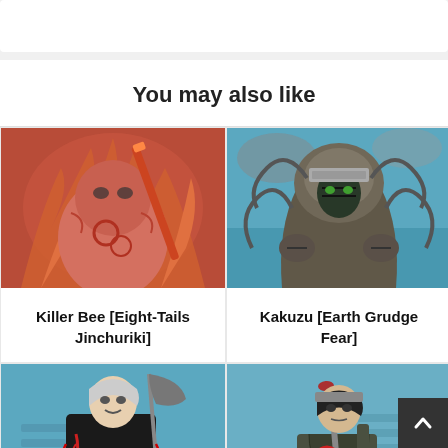You may also like
[Figure (illustration): Killer Bee in Eight-Tails Jinchuriki form, red/orange action illustration from Naruto anime]
Killer Bee [Eight-Tails Jinchuriki]
[Figure (illustration): Kakuzu in Earth Grudge Fear form, teal/grey illustration from Naruto anime]
Kakuzu [Earth Grudge Fear]
[Figure (illustration): Hidan in Death Possession Blood form, dark costume with scythe, teal background, Naruto anime]
Hidan [Death Possession Blood]
[Figure (illustration): Sai in Great Ninja War outfit, holding sword, teal background, Naruto anime]
Sai [Great Ninja War]